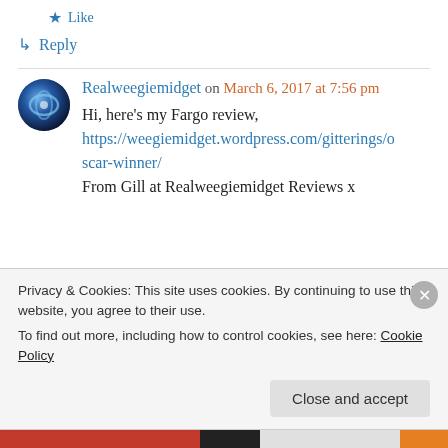★ Like
↳ Reply
Realweegiemidget on March 6, 2017 at 7:56 pm
Hi, here's my Fargo review,
https://weegiemidget.wordpress.com/gitterings/oscar-winner/
From Gill at Realweegiemidget Reviews x
Privacy & Cookies: This site uses cookies. By continuing to use this website, you agree to their use.
To find out more, including how to control cookies, see here: Cookie Policy
Close and accept